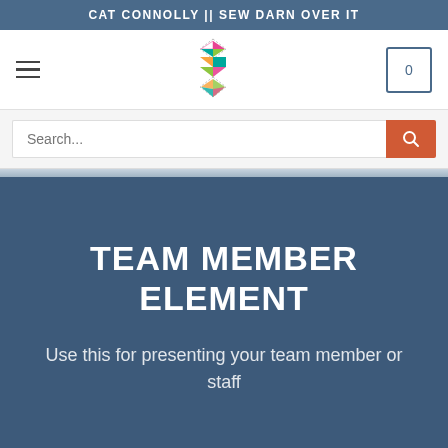CAT CONNOLLY || SEW DARN OVER IT
[Figure (logo): Colorful geometric S-shaped logo made of triangles in pink, green, teal, yellow, and red]
TEAM MEMBER ELEMENT
Use this for presenting your team member or staff